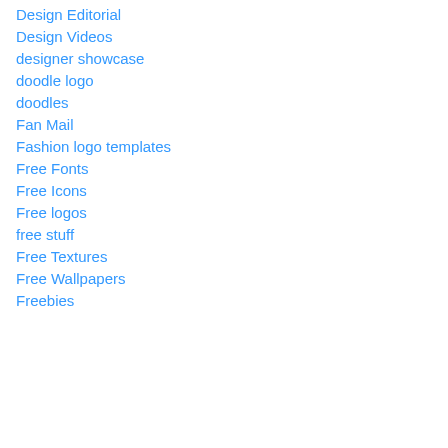Design Editorial
Design Videos
designer showcase
doodle logo
doodles
Fan Mail
Fashion logo templates
Free Fonts
Free Icons
Free logos
free stuff
Free Textures
Free Wallpapers
Freebies